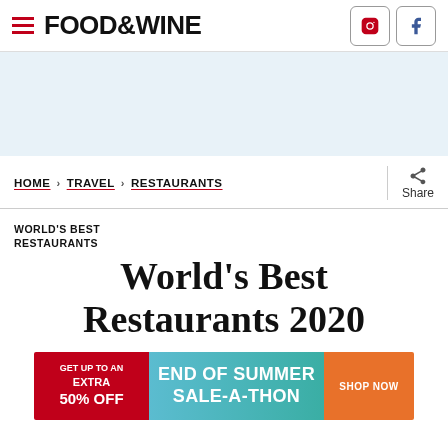FOOD&WINE
[Figure (other): Light blue advertisement placeholder banner]
HOME > TRAVEL > RESTAURANTS
WORLD'S BEST RESTAURANTS
World's Best Restaurants 2020
[Figure (other): GET UP TO AN EXTRA 50% OFF – END OF SUMMER SALE-A-THON – SHOP NOW advertisement banner]